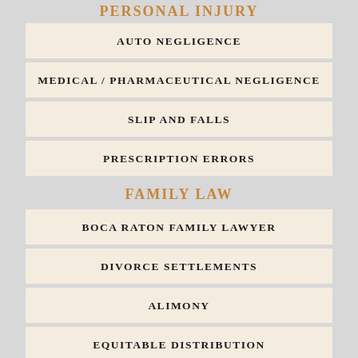PERSONAL INJURY
AUTO NEGLIGENCE
MEDICAL / PHARMACEUTICAL NEGLIGENCE
SLIP AND FALLS
PRESCRIPTION ERRORS
FAMILY LAW
BOCA RATON FAMILY LAWYER
DIVORCE SETTLEMENTS
ALIMONY
EQUITABLE DISTRIBUTION